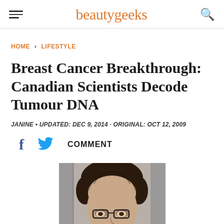beautygeeks
HOME › LIFESTYLE
Breast Cancer Breakthrough: Canadian Scientists Decode Tumour DNA
JANINE • UPDATED: DEC 9, 2014 · ORIGINAL: OCT 12, 2009
[Figure (photo): Portrait photo of a man with dark hair wearing glasses, partial face visible]
f  [twitter bird]  COMMENT